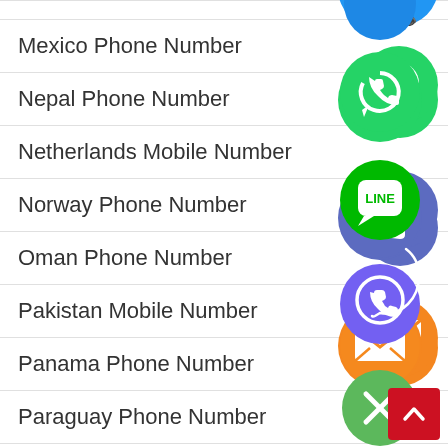Mexico Phone Number
Nepal Phone Number
Netherlands Mobile Number
Norway Phone Number
Oman Phone Number
Pakistan Mobile Number
Panama Phone Number
Paraguay Phone Number
[Figure (infographic): Floating social/contact app icons overlaid on list: WhatsApp (green), phone/Viber (blue-purple), email (orange), LINE (green), Viber (purple), close/X (green), and a partial blue circle at top]